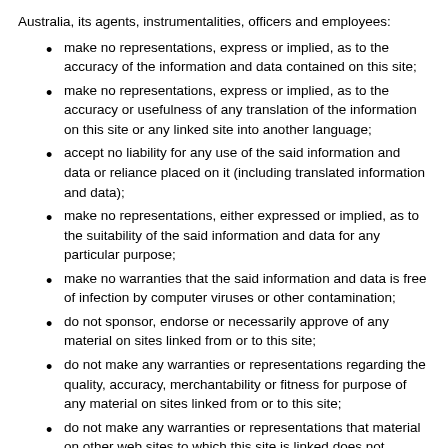Australia, its agents, instrumentalities, officers and employees:
make no representations, express or implied, as to the accuracy of the information and data contained on this site;
make no representations, express or implied, as to the accuracy or usefulness of any translation of the information on this site or any linked site into another language;
accept no liability for any use of the said information and data or reliance placed on it (including translated information and data);
make no representations, either expressed or implied, as to the suitability of the said information and data for any particular purpose;
make no warranties that the said information and data is free of infection by computer viruses or other contamination;
do not sponsor, endorse or necessarily approve of any material on sites linked from or to this site;
do not make any warranties or representations regarding the quality, accuracy, merchantability or fitness for purpose of any material on sites linked from or to this site;
do not make any warranties or representations that material on other web sites to which this site is linked does not infringe the intellectual property rights of any person